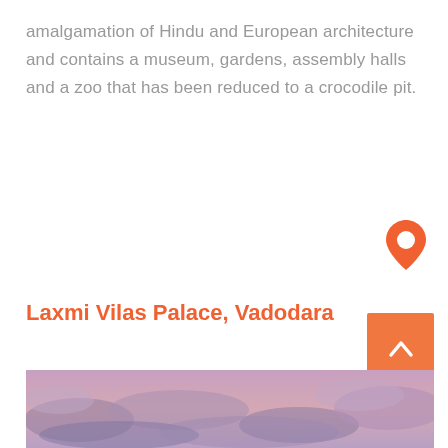amalgamation of Hindu and European architecture and contains a museum, gardens, assembly halls and a zoo that has been reduced to a crocodile pit.
[Figure (illustration): Orange location pin / map marker icon]
Laxmi Vilas Palace, Vadodara
View More
[Figure (illustration): Orange square back-to-top button with upward chevron arrow]
[Figure (photo): Sunset sky photo with dramatic purple and pink clouds]